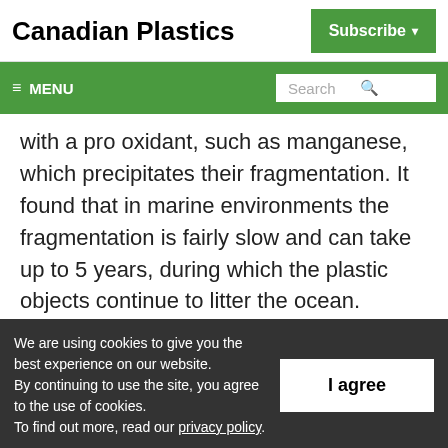Canadian Plastics | Subscribe
≡ MENU | Search
with a pro oxidant, such as manganese, which precipitates their fragmentation. It found that in marine environments the fragmentation is fairly slow and can take up to 5 years, during which the plastic objects continue to litter the ocean.
We are using cookies to give you the best experience on our website. By continuing to use the site, you agree to the use of cookies. To find out more, read our privacy policy.